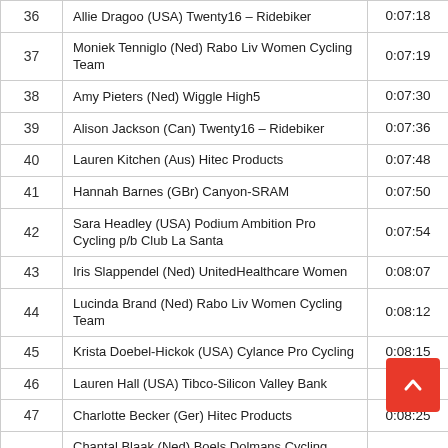| # | Rider | Time |
| --- | --- | --- |
| 36 | Allie Dragoo (USA) Twenty16 – Ridebiker | 0:07:18 |
| 37 | Moniek Tenniglo (Ned) Rabo Liv Women Cycling Team | 0:07:19 |
| 38 | Amy Pieters (Ned) Wiggle High5 | 0:07:30 |
| 39 | Alison Jackson (Can) Twenty16 – Ridebiker | 0:07:36 |
| 40 | Lauren Kitchen (Aus) Hitec Products | 0:07:48 |
| 41 | Hannah Barnes (GBr) Canyon-SRAM | 0:07:50 |
| 42 | Sara Headley (USA) Podium Ambition Pro Cycling p/b Club La Santa | 0:07:54 |
| 43 | Iris Slappendel (Ned) UnitedHealthcare Women | 0:08:07 |
| 44 | Lucinda Brand (Ned) Rabo Liv Women Cycling Team | 0:08:12 |
| 45 | Krista Doebel-Hickok (USA) Cylance Pro Cycling | 0:08:15 |
| 46 | Lauren Hall (USA) Tibco-Silicon Valley Bank | 0:08:17 |
| 47 | Charlotte Becker (Ger) Hitec Products | 0:08:25 |
| 48 | Chantal Blaak (Ned) Boels Dolmans Cycling Team | 0:08:27 |
| 49 | Lex Albrecht (Can) Bepink | 0:08:28 |
| 50 | Claire Rose (GBr) Podium Ambition Pro Cycling p/b Club La Santa | 0:08:?? |